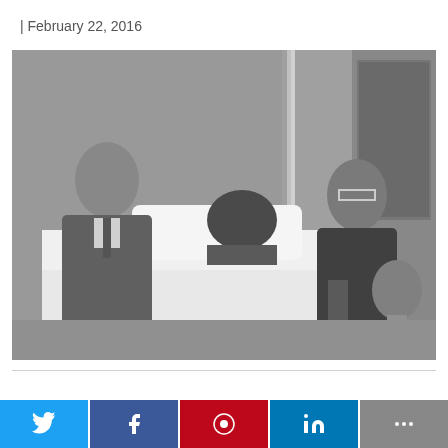| February 22, 2016
[Figure (photo): Black and white photograph showing a man in a suit leaning over a hospital bed speaking to a man lying in the bed, while a woman in a dark dress stands on the right side holding a bed rail, in a hospital room setting.]
[Figure (infographic): Social sharing buttons row: Twitter (blue), Facebook (dark blue), Pinterest (red), LinkedIn (blue), More (gray)]